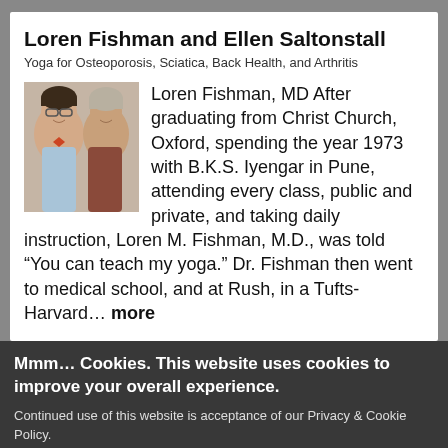Loren Fishman and Ellen Saltonstall
Yoga for Osteoporosis, Sciatica, Back Health, and Arthritis
[Figure (photo): Headshots of two authors side by side: a man with glasses and bowtie on the left, a woman with short hair on the right]
Loren Fishman, MD After graduating from Christ Church, Oxford, spending the year 1973 with B.K.S. Iyengar in Pune, attending every class, public and private, and taking daily instruction, Loren M. Fishman, M.D., was told “You can teach my yoga.” Dr. Fishman then went to medical school, and at Rush, in a Tufts-Harvard… more
Mmm… Cookies. This website uses cookies to improve your overall experience.
Continued use of this website is acceptance of our Privacy & Cookie Policy.
More info
Dr Sarah Court
PT, DPT, E-RYT
Accept
Decline
Dr. Sarah Court PT, DPT, E-RYT is a physical therapist, movement mentor,